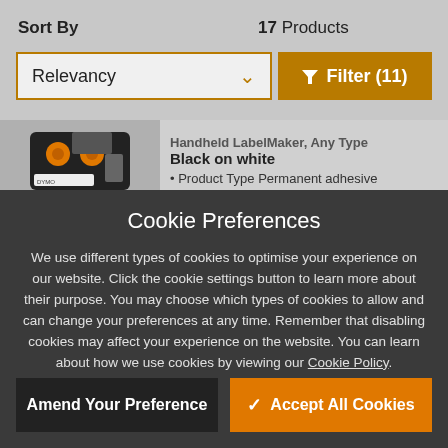Sort By
17 Products
Relevancy
Filter (11)
[Figure (photo): Label printer cartridge device with orange connectors on black body]
Black on white
Product Type Permanent adhesive
Cookie Preferences
We use different types of cookies to optimise your experience on our website. Click the cookie settings button to learn more about their purpose. You may choose which types of cookies to allow and can change your preferences at any time. Remember that disabling cookies may affect your experience on the website. You can learn about how we use cookies by viewing our Cookie Policy.
Amend Your Preference
Accept All Cookies